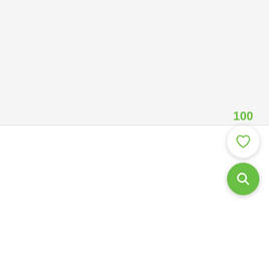[Figure (screenshot): UI screenshot showing a light gray top section and white bottom section. In the lower-right area there is a green number '100', a white circular heart/favorite button with a green heart icon, and a green circular search button with a white magnifying glass icon.]